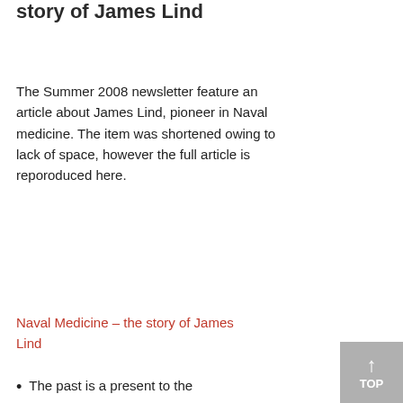story of James Lind
The Summer 2008 newsletter feature an article about James Lind, pioneer in Naval medicine. The item was shortened owing to lack of space, however the full article is reporoduced here.
Naval Medicine – the story of James Lind
Portsmouth Society Newsletter January 2008
[Figure (other): Placeholder image with broken image icon]
The past is a present to the